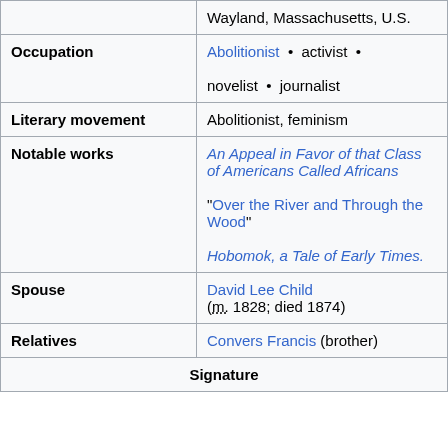| Field | Value |
| --- | --- |
|  | Wayland, Massachusetts, U.S. |
| Occupation | Abolitionist • activist • novelist • journalist |
| Literary movement | Abolitionist, feminism |
| Notable works | An Appeal in Favor of that Class of Americans Called Africans
"Over the River and Through the Wood"
Hobomok, a Tale of Early Times. |
| Spouse | David Lee Child (m. 1828; died 1874) |
| Relatives | Convers Francis (brother) |
| Signature |  |